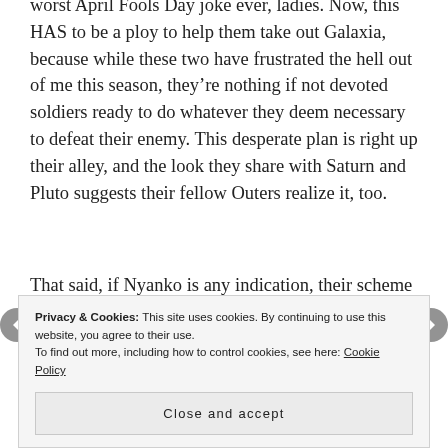worst April Fools Day joke ever, ladies. Now, this HAS to be a ploy to help them take out Galaxia, because while these two have frustrated the hell out of me this season, they're nothing if not devoted soldiers ready to do whatever they deem necessary to defeat their enemy. This desperate plan is right up their alley, and the look they share with Saturn and Pluto suggests their fellow Outers realize it, too.
That said, if Nyanko is any indication, their scheme is STILL doomed to horrible, bloody failure because they just gave up their free will. Even if this isn't an
know how these bracelets won't date your
Privacy & Cookies: This site uses cookies. By continuing to use this website, you agree to their use. To find out more, including how to control cookies, see here: Cookie Policy
Close and accept